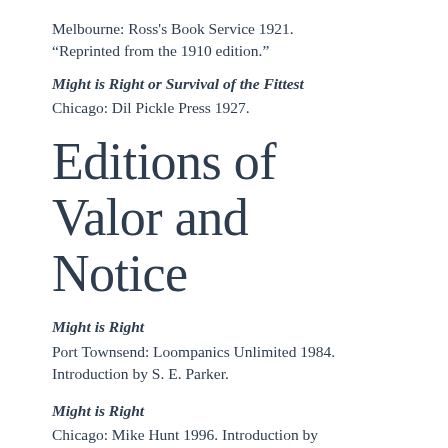Melbourne: Ross's Book Service 1921.
"Reprinted from the 1910 edition."
Might is Right or Survival of the Fittest
Chicago: Dil Pickle Press 1927.
Editions of Valor and Notice
Might is Right
Port Townsend: Loompanics Unlimited 1984. Introduction by S. E. Parker.
Might is Right
Chicago: Mike Hunt 1996. Introduction by Anton LaVey.